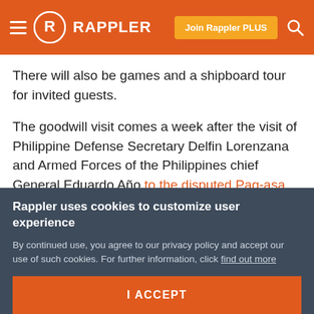Rappler — navigation bar with hamburger menu, logo, Join Rappler PLUS button, and search icon
There will also be games and a shipboard tour for invited guests.
The goodwill visit comes a week after the visit of Philippine Defense Secretary Delfin Lorenzana and Armed Forces of the Philippines chief General Eduardo Año to the disputed Pag-asa Island in the West Philippine Sea (South China Sea) on April 21.
Beijing had expressed grave concern and dissatisfaction
Rappler uses cookies to customize user experience
By continued use, you agree to our privacy policy and accept our use of such cookies. For further information, click find out more
I ACCEPT